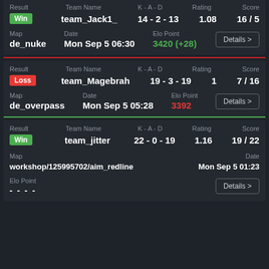| Result | Team Name | K-A-D | Rating | Score |
| --- | --- | --- | --- | --- |
| Win | team_Jack1_ | 14 - 2 - 13 | 1.08 | 16 / 5 |
Map: de_nuke | Date: Mon Sep 5 06:30 | Elo Point: 3420 (+28)
| Result | Team Name | K-A-D | Rating | Score |
| --- | --- | --- | --- | --- |
| Loss | team_Magebrah | 19 - 3 - 19 | 1 | 7 / 16 |
Map: de_overpass | Date: Mon Sep 5 05:28 | Elo Point: 3392
| Result | Team Name | K-A-D | Rating | Score |
| --- | --- | --- | --- | --- |
| Win | team_jitter | 22 - 0 - 19 | 1.16 | 19 / 22 |
Map: workshop/125995702/aim_redline | Date: Mon Sep 5 01:23 | Elo Point: - - - -